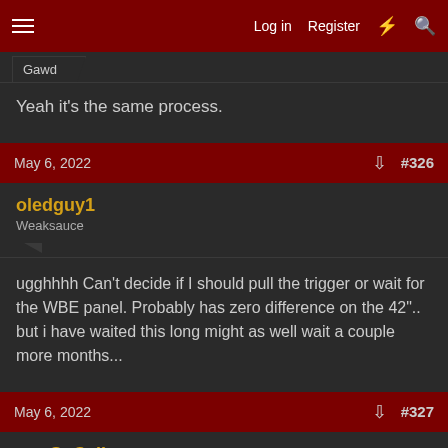Log in   Register   #327
Gawd
Yeah it's the same process.
May 6, 2022   #326
oledguy1
Weaksauce
ugghhhh Can't decide if I should pull the trigger or wait for the WBE panel. Probably has zero difference on the 42".. but i have waited this long might as well wait a couple more months...
May 6, 2022   #327
SoCali
Gawd